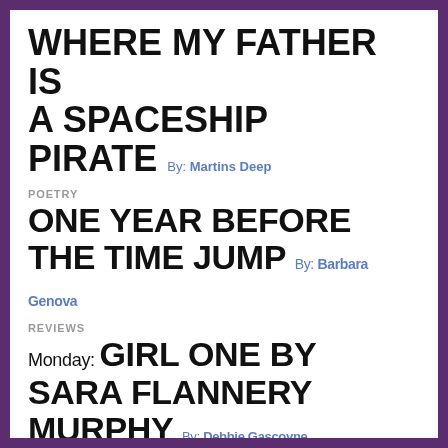WHERE MY FATHER IS A SPACESHIP PIRATE By: Martins Deep
POETRY
ONE YEAR BEFORE THE TIME JUMP By: Barbara Genova
REVIEWS
Monday: GIRL ONE BY SARA FLANNERY MURPHY By: Debbie Gascoyne, Wednesday: